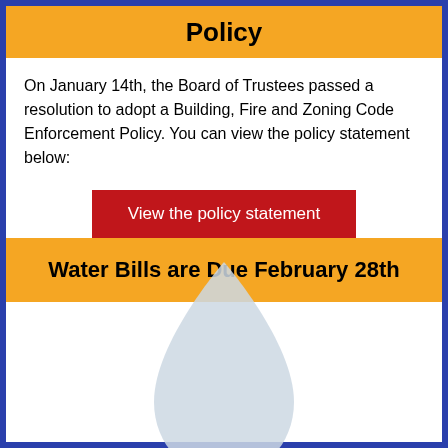Policy
On January 14th, the Board of Trustees passed a resolution to adopt a Building, Fire and Zoning Code Enforcement Policy. You can view the policy statement below:
View the policy statement
Water Bills are Due February 28th
[Figure (illustration): A large light blue water droplet icon centered on a white background]